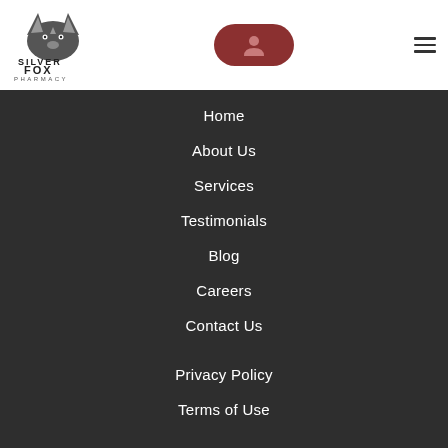[Figure (logo): Silver Fox Pharmacy logo — stylized fox head with triangular ears and 'SILVER FOX PHARMACY' text]
[Figure (other): Rounded rectangle button with dark red/maroon background and a white person/user icon]
[Figure (other): Hamburger menu icon — three horizontal lines]
Home
About Us
Services
Testimonials
Blog
Careers
Contact Us
Privacy Policy
Terms of Use